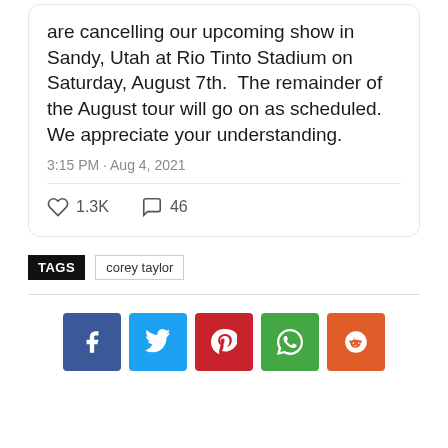are cancelling our upcoming show in Sandy, Utah at Rio Tinto Stadium on Saturday, August 7th.  The remainder of the August tour will go on as scheduled.  We appreciate your understanding.
3:15 PM · Aug 4, 2021
1.3K  46
TAGS  corey taylor
[Figure (infographic): Row of 5 social media share buttons: Facebook (blue), Twitter (light blue), Pinterest (red), WhatsApp (green), Reddit (orange)]